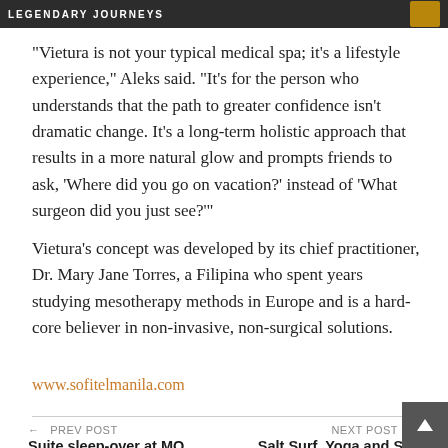LEGENDARY JOURNEYS
“Vietura is not your typical medical spa; it’s a lifestyle experience,” Aleks said. “It’s for the person who understands that the path to greater confidence isn’t dramatic change. It’s a long-term holistic approach that results in a more natural glow and prompts friends to ask, ‘Where did you go on vacation?’ instead of ‘What surgeon did you just see?’”
Vietura’s concept was developed by its chief practitioner, Dr. Mary Jane Torres, a Filipina who spent years studying mesotherapy methods in Europe and is a hard-core believer in non-invasive, non-surgical solutions.
www.sofitelmanila.com
← PREV POST Suite sleep-over at MO | NEXT POST → Salt Surf, Yoga and Spa Escape